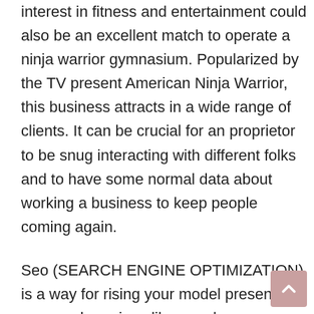interest in fitness and entertainment could also be an excellent match to operate a ninja warrior gymnasium. Popularized by the TV present American Ninja Warrior, this business attracts in a wide range of clients. It can be crucial for an proprietor to be snug interacting with different folks and to have some normal data about working a business to keep people coming again.
Seo (SEARCH ENGINE OPTIMIZATION) is a way for rising your model presence on search engines like google corresponding to Google, Bing, Yahoo, and extra. Many companies have elevated their deal with WEBSITE POSITIONING because increasingly more consumers are utilizing search engines like google to find the products and services they